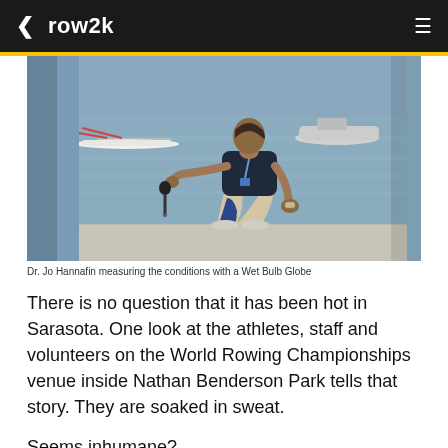row2k
[Figure (photo): Dr. Jo Hannafin crouching on a dock/concrete surface near water, holding a Wet Bulb Globe instrument. She is wearing a dark navy t-shirt, blue compression socks, and khaki shorts. Rowing boats are visible on the water in the background.]
Dr. Jo Hannafin measuring the conditions with a Wet Bulb Globe
There is no question that it has been hot in Sarasota. One look at the athletes, staff and volunteers on the World Rowing Championships venue inside Nathan Benderson Park tells that story. They are soaked in sweat.
Seems inhumane?
Not to FISA staff doctor Jo Hannafin. It's not that she doesn't agree that racing under a blazing sun and in temperatures that